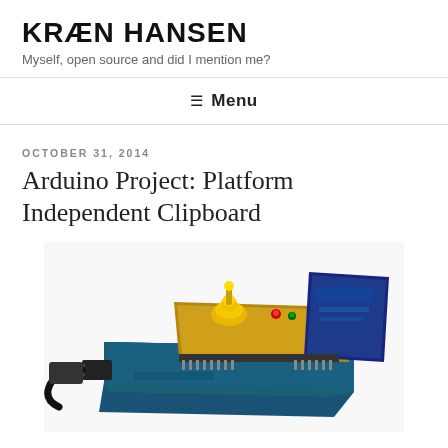KRÆN HANSEN
Myself, open source and did I mention me?
≡ Menu
OCTOBER 31, 2014
Arduino Project: Platform Independent Clipboard
[Figure (photo): Photo of an Arduino board with a shield stacked on top, a yellow component (joystick/button), red and green LEDs, and a dark blue card/shield attached, with a USB cable plugged in.]